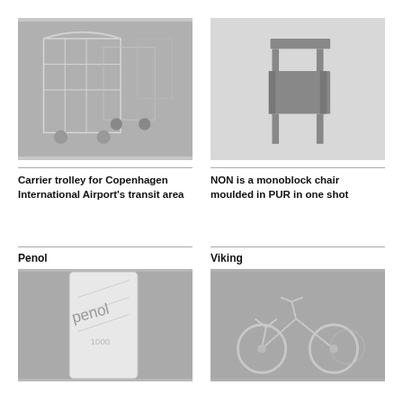[Figure (photo): Black and white photo of shopping/carrier trolleys in a transit area]
Carrier trolley for Copenhagen International Airport's transit area
[Figure (photo): Black and white photo of a simple monoblock chair (NON chair) made of PUR]
NON is a monoblock chair moulded in PUR in one shot
Penol
Viking
[Figure (photo): Black and white close-up photo of a Penol 1000 pen/marker]
[Figure (photo): Black and white photo of Viking bicycles]